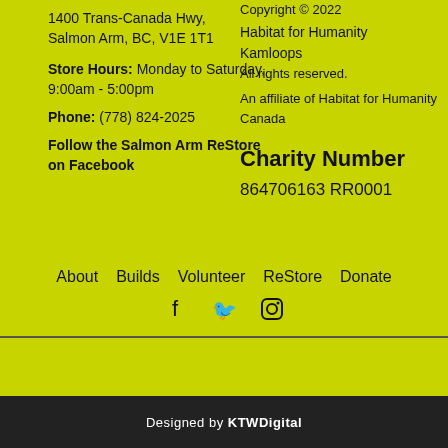1400 Trans-Canada Hwy, Salmon Arm, BC, V1E 1T1
Store Hours: Monday to Saturday, 9:00am - 5:00pm
Phone: (778) 824-2025
Follow the Salmon Arm ReStore on Facebook
Copyright © 2022
Habitat for Humanity Kamloops
All rights reserved.
An affiliate of Habitat for Humanity Canada
Charity Number
864706163 RR0001
About
Builds
Volunteer
ReStore
Donate
Designed by KTWDigital